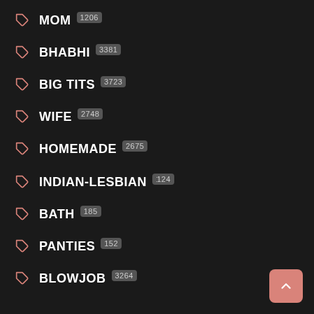MOM 1206
BHABHI 3381
BIG TITS 3723
WIFE 2748
HOMEMADE 2675
INDIAN-LESBIAN 124
BATH 185
PANTIES 152
BLOWJOB 3264